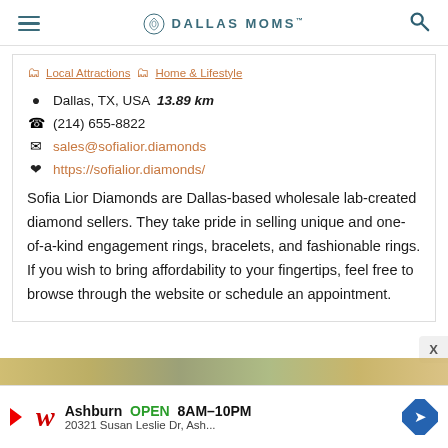DALLAS MOMS
Local Attractions  Home & Lifestyle
Dallas, TX, USA  13.89 km
(214) 655-8822
sales@sofialior.diamonds
https://sofialior.diamonds/
Sofia Lior Diamonds are Dallas-based wholesale lab-created diamond sellers. They take pride in selling unique and one-of-a-kind engagement rings, bracelets, and fashionable rings. If you wish to bring affordability to your fingertips, feel free to browse through the website or schedule an appointment.
Ashburn OPEN 8AM–10PM 20321 Susan Leslie Dr, Ash...